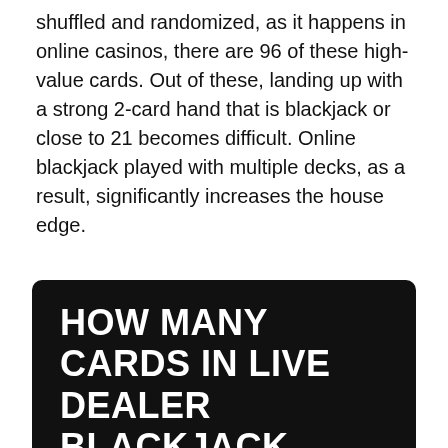shuffled and randomized, as it happens in online casinos, there are 96 of these high-value cards. Out of these, landing up with a strong 2-card hand that is blackjack or close to 21 becomes difficult. Online blackjack played with multiple decks, as a result, significantly increases the house edge.
HOW MANY CARDS IN LIVE DEALER BLACKJACK
Live dealer blackjack is streamed online but players get the feel of being in a real casino because of the live dealer initiating the game. About 8 decks of cards are used in live dealer blackjack, much like in the land-based casinos.